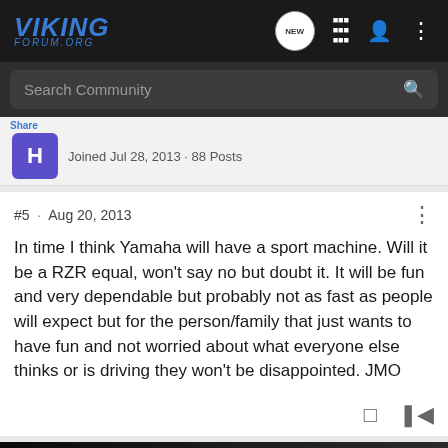VIKING FORUM.ORG
Search Community
Joined Jul 28, 2013 · 88 Posts
#5 · Aug 20, 2013
In time I think Yamaha will have a sport machine. Will it be a RZR equal, won't say no but doubt it. It will be fun and very dependable but probably not as fast as people will expect but for the person/family that just wants to have fun and not worried about what everyone else thinks or is driving they won't be disappointed. JMO
[Figure (screenshot): Wolverine RMAX4 1000 XR Edition Yamaha advertisement banner at the bottom of the forum page]